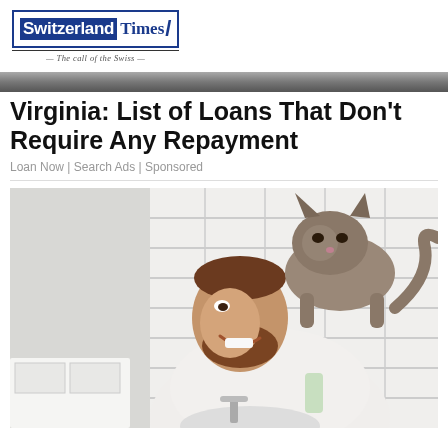Switzerland Times / The call of the Swiss
Virginia: List of Loans That Don't Require Any Repayment
Loan Now | Search Ads | Sponsored
[Figure (photo): A smiling bearded man in a white shirt at a bathroom sink, with a tabby cat perched on his shoulder/back, white subway tile walls, mirror reflecting a grey towel in the background.]